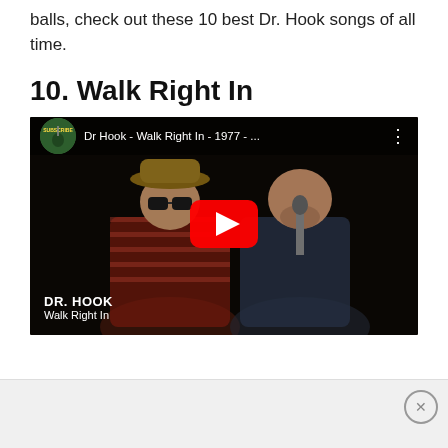balls, check out these 10 best Dr. Hook songs of all time.
10. Walk Right In
[Figure (screenshot): YouTube video thumbnail for 'Dr Hook - Walk Right In - 1977 - ...' showing two men on stage, one wearing a cowboy hat and sunglasses, the other near a microphone. A red YouTube play button is centered on the image. Bottom-left shows 'DR. HOOK' and 'Walk Right In' text overlay.]
[Figure (other): Ad footer area with close button (X circle) at bottom right]